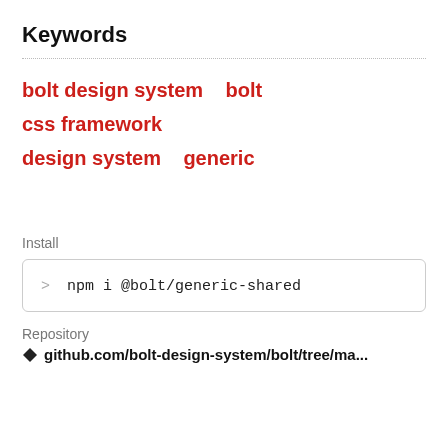Keywords
bolt design system   bolt   css framework   design system   generic
Install
> npm i @bolt/generic-shared
Repository
github.com/bolt-design-system/bolt/tree/ma...